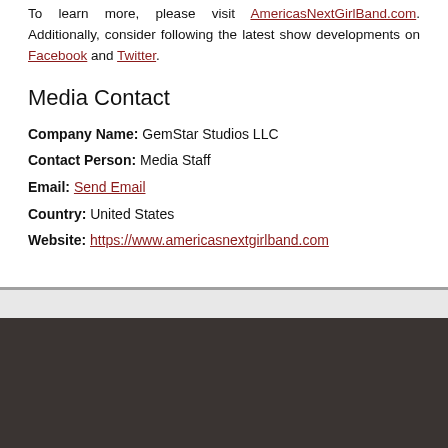To learn more, please visit AmericasNextGirlBand.com. Additionally, consider following the latest show developments on Facebook and Twitter.
Media Contact
Company Name: GemStar Studios LLC
Contact Person: Media Staff
Email: Send Email
Country: United States
Website: https://www.americasnextgirlband.com
[Figure (other): Footer bar with light gray strip and dark brown/charcoal background panel]